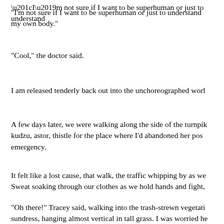“I’m not sure if I want to be superhuman or just to understand my own body.”
“Cool,” the doctor said.
I am released tenderly back out into the unchoreographed worl
A few days later, we were walking along the side of the turnpik kudzu, astor, thistle for the place where I’d abandoned her po emergency.
It felt like a lost cause, that walk, the traffic whipping by as we Sweat soaking through our clothes as we hold hands and fight,
“Oh there!” Tracey said, walking into the trash-strewn vegetati sundress, hanging almost vertical in tall grass. I was worried he